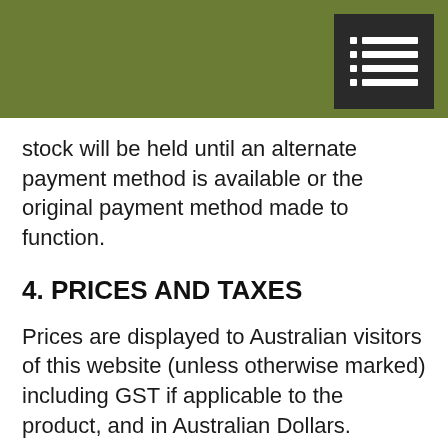[Figure (other): Olive green header banner with dark menu icon in top right corner showing list/hamburger lines]
stock will be held until an alternate payment method is available or the original payment method made to function.
4. PRICES AND TAXES
Prices are displayed to Australian visitors of this website (unless otherwise marked) including GST if applicable to the product, and in Australian Dollars.